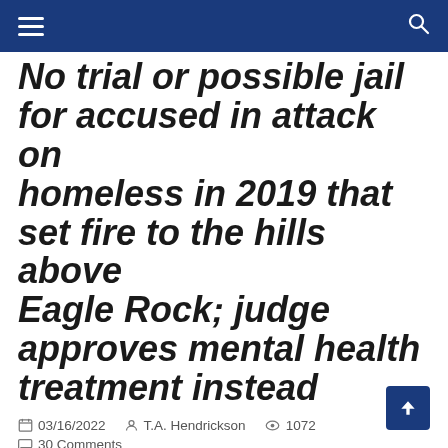Navigation bar with menu and search icons
No trial or possible jail for accused in attack on homeless in 2019 that set fire to the hills above Eagle Rock; judge approves mental health treatment instead
03/16/2022  T.A. Hendrickson  1072  30 Comments
By T.A. Hendrickson